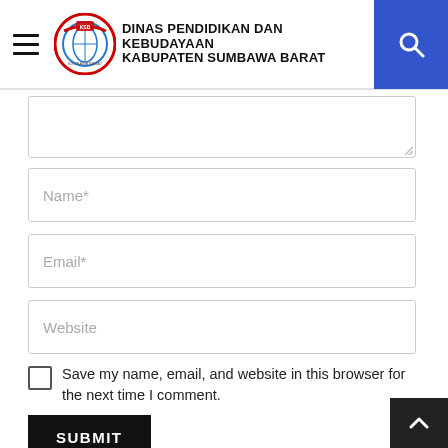DINAS PENDIDIKAN DAN KEBUDAYAAN KABUPATEN SUMBAWA BARAT
[Figure (screenshot): Partially visible textarea input at top of form]
Name*
Email*
Website
Save my name, email, and website in this browser for the next time I comment.
SUBMIT